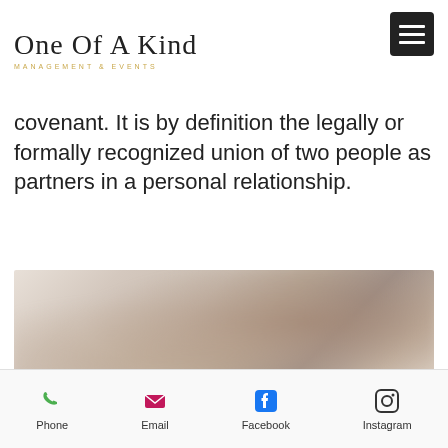[Figure (logo): One Of A Kind Management & Events logo with script text and golden subtitle, plus hamburger menu icon]
ast
d
covenant. It is by definition the legally or formally recognized union of two people as partners in a personal relationship.
[Figure (photo): Blurred photograph, appears to show a wedding or event scene with soft warm tones]
Phone   Email   Facebook   Instagram